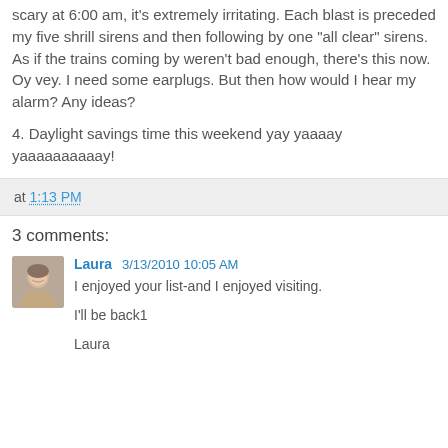scary at 6:00 am, it's extremely irritating. Each blast is preceded my five shrill sirens and then following by one "all clear" sirens. As if the trains coming by weren't bad enough, there's this now. Oy vey. I need some earplugs. But then how would I hear my alarm? Any ideas?
4. Daylight savings time this weekend yay yaaaay yaaaaaaaaaay!
at 1:13 PM
3 comments:
Laura 3/13/2010 10:05 AM
I enjoyed your list-and I enjoyed visiting.

I'll be back1

Laura